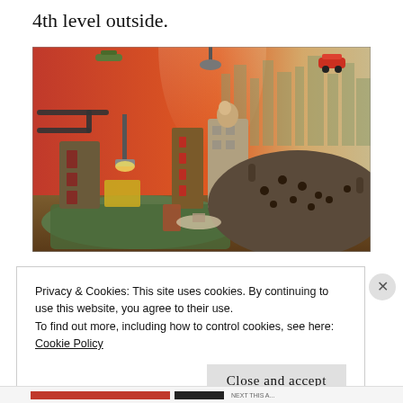4th level outside.
[Figure (screenshot): Game screenshot showing a stylized 3D scene with clay-like characters and buildings in an orange/red interior setting with a cityscape visible in the background. Various whimsical objects and characters are scattered around the scene.]
Privacy & Cookies: This site uses cookies. By continuing to use this website, you agree to their use.
To find out more, including how to control cookies, see here:
Cookie Policy
Close and accept